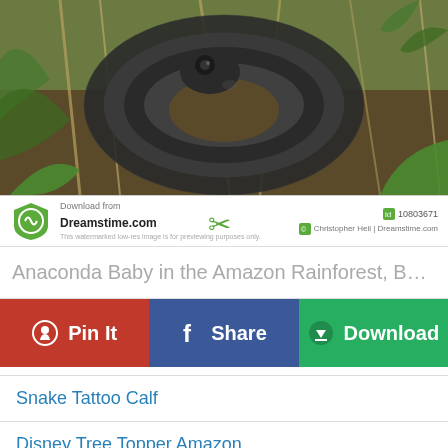[Figure (photo): Close-up photo of an anaconda baby snake coiled among dry grass and green leaves in the Amazon Rainforest, Bolivia. Watermark bar below shows Dreamstime.com branding with scissors graphic, image ID 10803671, and photographer credit Christopher Heil | Dreamstime.com]
Anaconda Baby in the Amazon Rainforest, Bolivia Stoc...
Pin It
Share
Download
Snake Tattoo Calf
Disney Tree Topper Amazon
Skull And Snake Tattoo Ideas